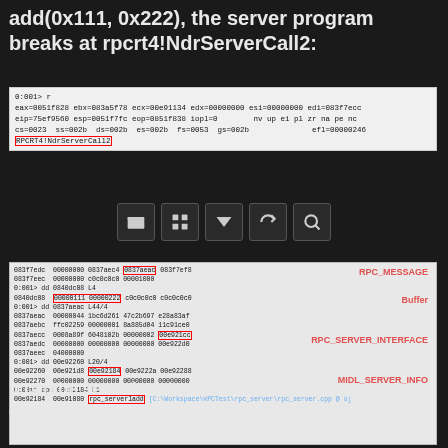add(0x111, 0x222), the server program breaks at rpcrt4!NdrServerCall2:
[Figure (screenshot): Debugger console output showing register state and RPCRT4!NdrServerCall2 highlighted in red box]
[Figure (screenshot): Toolbar with folder, grid, triangle, refresh, and search icons]
[Figure (screenshot): Memory dump debugger output showing RPC_MESSAGE, Buffer, RPC_SERVER_INTERFACE, and MIDL_SERVER_INFO structures with highlighted addresses in red boxes]
It can be seen that the dynamic debugging memory dump is consistent with the RPC_MESSAGE structure analysis, and the add function is stored in